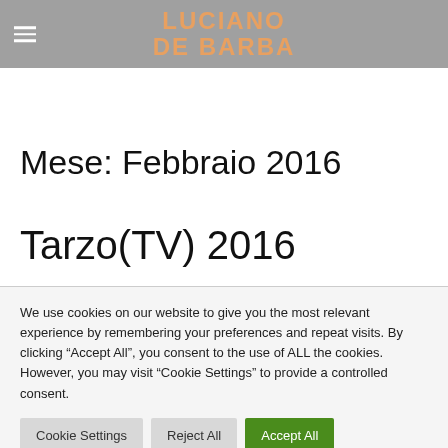LUCIANO DE BARBA
Mese: Febbraio 2016
Tarzo(TV) 2016
We use cookies on our website to give you the most relevant experience by remembering your preferences and repeat visits. By clicking “Accept All”, you consent to the use of ALL the cookies. However, you may visit “Cookie Settings” to provide a controlled consent.